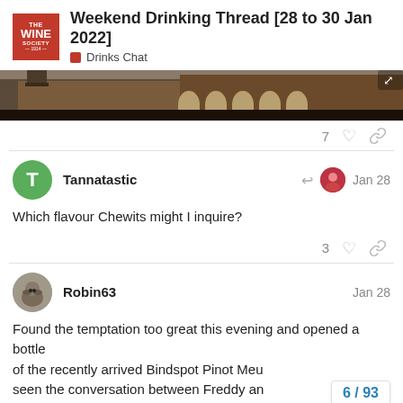Weekend Drinking Thread [28 to 30 Jan 2022] — Drinks Chat
[Figure (photo): Banner image showing a building with arched windows and a city skyline]
7 likes, link icon
Tannatastic — Jan 28
Which flavour Chewits might I inquire?
3 likes, link icon
Robin63 — Jan 28
Found the temptation too great this evening and opened a bottle of the recently arrived Bindspot Pinot Meu... seen the conversation between Freddy an...
6 / 93